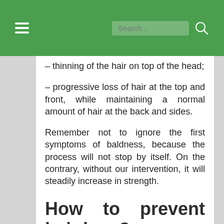Search...
– thinning of the hair on top of the head;
– progressive loss of hair at the top and front, while maintaining a normal amount of hair at the back and sides.
Remember not to ignore the first symptoms of baldness, because the process will not stop by itself. On the contrary, without our intervention, it will steadily increase in strength.
How to prevent hair loss?